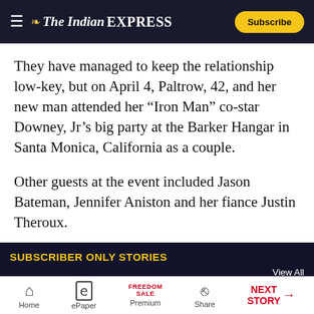The Indian EXPRESS — Subscribe
They have managed to keep the relationship low-key, but on April 4, Paltrow, 42, and her new man attended her “Iron Man” co-star Downey, Jr’s big party at the Barker Hangar in Santa Monica, California as a couple.
Other guests at the event included Jason Bateman, Jennifer Aniston and her fiance Justin Theroux.
SUBSCRIBER ONLY STORIES
View All
Premium
Premium
P…